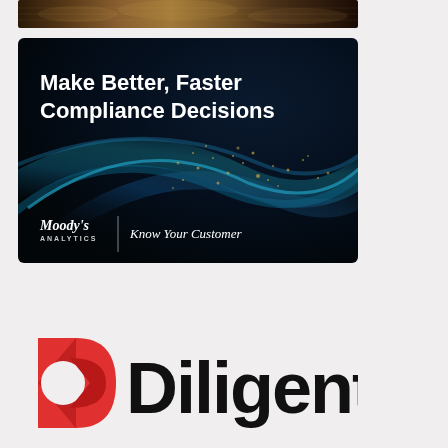[Figure (photo): Partial crop of a decorative image with dark brown/golden textured pattern, likely a financial or compliance-themed visual]
[Figure (illustration): Moody's Analytics Know Your Customer advertisement banner. Dark/black background with blue and gold swirling light streaks. White bold text reads 'Make Better, Faster Compliance Decisions'. Bottom left shows Moody's Analytics logo in white with a vertical divider line and 'Know Your Customer' text in italic serif font on the right.]
[Figure (logo): Diligent logo: red/crimson stylized 'D' letter mark on the left, followed by the word 'Diligent' in large bold black sans-serif text]